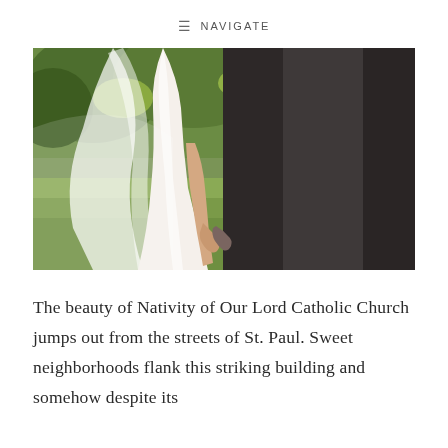≡  NAVIGATE
[Figure (photo): Wedding couple photographed from behind standing in a garden. The bride wears a white ball gown with a long veil, and the groom wears a dark suit. They are holding hands. Green leafy shrubs are visible in the background.]
The beauty of Nativity of Our Lord Catholic Church jumps out from the streets of St. Paul. Sweet neighborhoods flank this striking building and somehow despite its